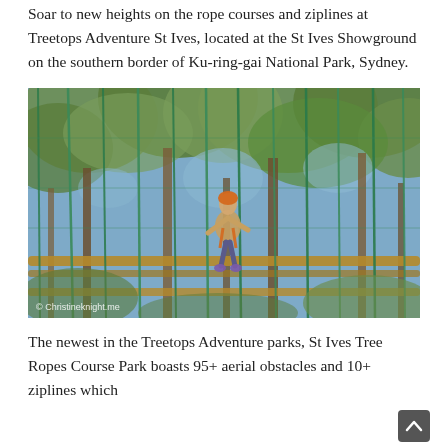Soar to new heights on the rope courses and ziplines at Treetops Adventure St Ives, located at the St Ives Showground on the southern border of Ku-ring-gai National Park, Sydney.
[Figure (photo): Person on aerial rope course high among eucalyptus trees, wearing a harness, with green safety ropes/nets visible. Photo credit: © Christineknight.me]
The newest in the Treetops Adventure parks, St Ives Tree Ropes Course Park boasts 95+ aerial obstacles and 10+ ziplines which